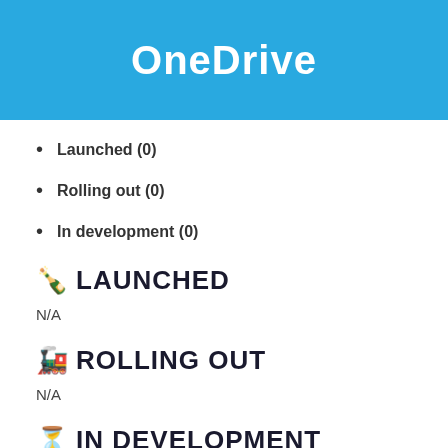OneDrive
Launched (0)
Rolling out (0)
In development (0)
🍾 LAUNCHED
N/A
🚂 ROLLING OUT
N/A
⏳ IN DEVELOPMENT